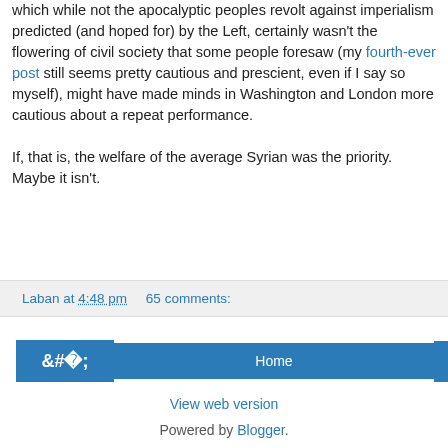which while not the apocalyptic peoples revolt against imperialism predicted (and hoped for) by the Left, certainly wasn't the flowering of civil society that some people foresaw (my fourth-ever post still seems pretty cautious and prescient, even if I say so myself), might have made minds in Washington and London more cautious about a repeat performance.
If, that is, the welfare of the average Syrian was the priority. Maybe it isn't.
Laban at 4:48 pm   65 comments:
‹  Home  ›
View web version
Powered by Blogger.